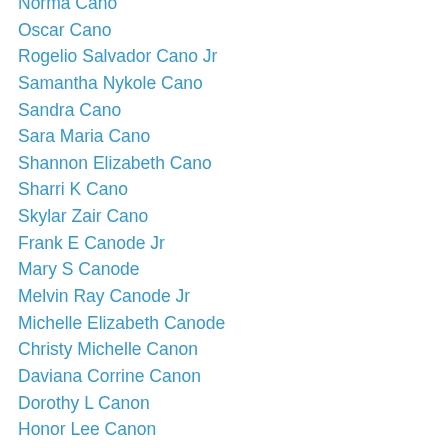Norma Cano
Oscar Cano
Rogelio Salvador Cano Jr
Samantha Nykole Cano
Sandra Cano
Sara Maria Cano
Shannon Elizabeth Cano
Sharri K Cano
Skylar Zair Cano
Frank E Canode Jr
Mary S Canode
Melvin Ray Canode Jr
Michelle Elizabeth Canode
Christy Michelle Canon
Daviana Corrine Canon
Dorothy L Canon
Honor Lee Canon
John Paul Canon